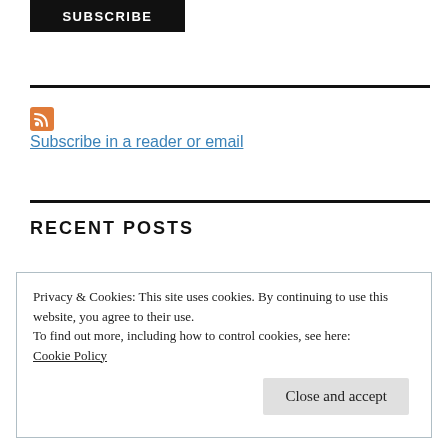SUBSCRIBE
[Figure (other): RSS feed icon, orange square with white RSS symbol]
Subscribe in a reader or email
RECENT POSTS
Privacy & Cookies: This site uses cookies. By continuing to use this website, you agree to their use.
To find out more, including how to control cookies, see here:
Cookie Policy
Close and accept